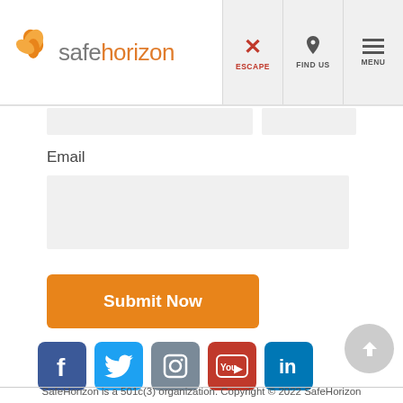safehorizon — ESCAPE | FIND US | MENU
Email
[Figure (screenshot): Email input field (empty text box)]
[Figure (screenshot): Submit Now button (orange rounded rectangle)]
[Figure (screenshot): Social media icons row: Facebook, Twitter, Instagram, YouTube, LinkedIn]
SafeHorizon is a 501c(3) organization. Copyright © 2022 SafeHorizon